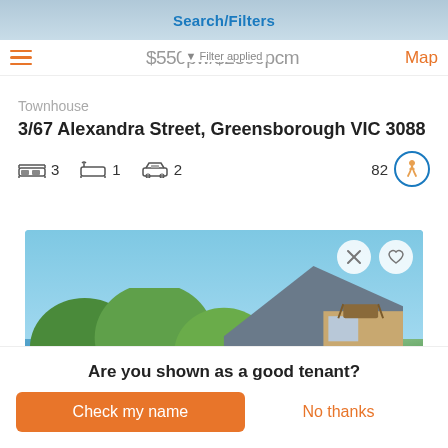Search/Filters
$550pw/$2390pcm · Filter applied · Map
Townhouse
3/67 Alexandra Street, Greensborough VIC 3088
3 bedrooms, 1 bathroom, 2 car spaces, Walk score 82
[Figure (photo): Photo of townhouse exterior with trees, blue sky, brick building with angled roof and timber awning over window]
Are you shown as a good tenant?
Check my name
No thanks